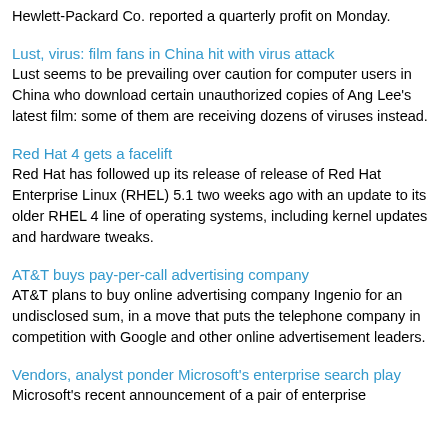Hewlett-Packard Co. reported a quarterly profit on Monday.
Lust, virus: film fans in China hit with virus attack
Lust seems to be prevailing over caution for computer users in China who download certain unauthorized copies of Ang Lee's latest film: some of them are receiving dozens of viruses instead.
Red Hat 4 gets a facelift
Red Hat has followed up its release of release of Red Hat Enterprise Linux (RHEL) 5.1 two weeks ago with an update to its older RHEL 4 line of operating systems, including kernel updates and hardware tweaks.
AT&T buys pay-per-call advertising company
AT&T plans to buy online advertising company Ingenio for an undisclosed sum, in a move that puts the telephone company in competition with Google and other online advertisement leaders.
Vendors, analyst ponder Microsoft's enterprise search play
Microsoft's recent announcement of a pair of enterprise